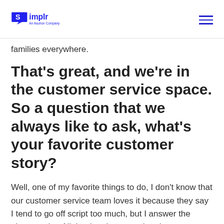Simplr — An Asurion Company
families everywhere.
That's great, and we're in the customer service space. So a question that we always like to ask, what's your favorite customer story?
Well, one of my favorite things to do, I don't know that our customer service team loves it because they say I tend to go off script too much, but I answer the phones a lot. All the time I answer the phones, emails, as well as during the holiday period. I think Missy and I…